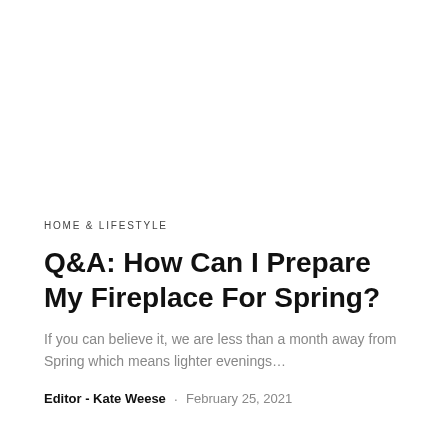HOME & LIFESTYLE
Q&A: How Can I Prepare My Fireplace For Spring?
If you can believe it, we are less than a month away from Spring which means lighter evenings…
Editor - Kate Weese · February 25, 2021